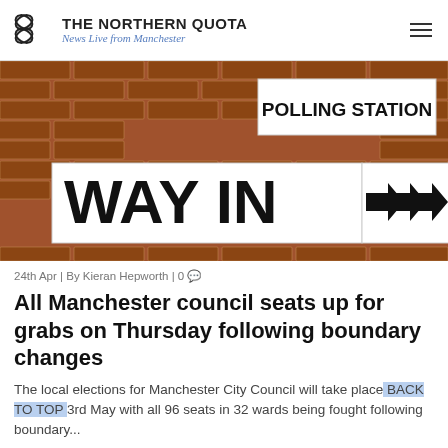THE NORTHERN QUOTA — News Live from Manchester
[Figure (photo): Photograph of a polling station sign and 'WAY IN' sign with directional arrows on a brick wall]
24th Apr | By Kieran Hepworth | 0
All Manchester council seats up for grabs on Thursday following boundary changes
The local elections for Manchester City Council will take place on the 3rd May with all 96 seats in 32 wards being fought following boundary...